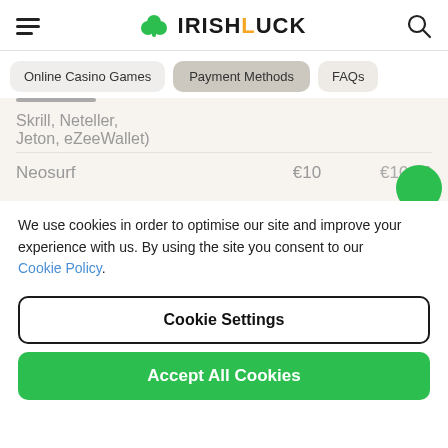IRISHLUCK
Online Casino Games
Payment Methods
FAQs
Skrill, Neteller, Jeton, eZeeWallet)
|  | Min Deposit | Max Deposit |
| --- | --- | --- |
| Neosurf | €10 | €10,00 |
We use cookies in order to optimise our site and improve your experience with us. By using the site you consent to our Cookie Policy.
Cookie Settings
Accept All Cookies